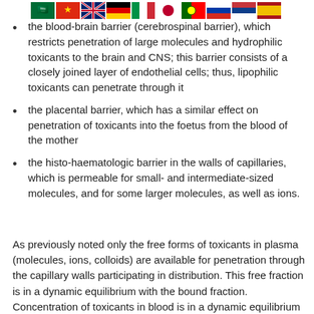[Figure (illustration): Row of country flags: Saudi Arabia, China, United Kingdom, Germany, Italy, Japan, Portugal, Russia, Serbia, Spain, Kenya]
the blood-brain barrier (cerebrospinal barrier), which restricts penetration of large molecules and hydrophilic toxicants to the brain and CNS; this barrier consists of a closely joined layer of endothelial cells; thus, lipophilic toxicants can penetrate through it
the placental barrier, which has a similar effect on penetration of toxicants into the foetus from the blood of the mother
the histo-haematologic barrier in the walls of capillaries, which is permeable for small- and intermediate-sized molecules, and for some larger molecules, as well as ions.
As previously noted only the free forms of toxicants in plasma (molecules, ions, colloids) are available for penetration through the capillary walls participating in distribution. This free fraction is in a dynamic equilibrium with the bound fraction. Concentration of toxicants in blood is in a dynamic equilibrium